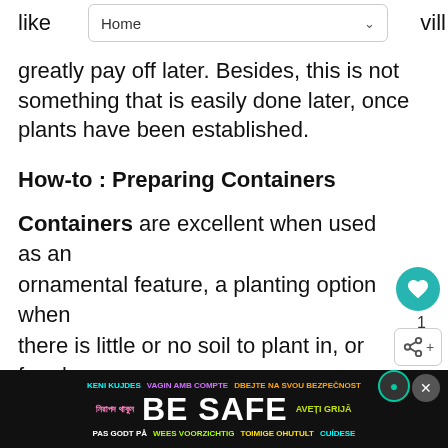Home
like will greatly pay off later. Besides, this is not something that is easily done later, once plants have been established.
How-to : Preparing Containers
Containers are excellent when used as an ornamental feature, a planting option when there is little or no soil to plant in, or for plants that require a soil type not found in the garden or when soil drainage in the garden. If growing more than one plant in a container, make sure that all have similar cultural
[Figure (screenshot): UI overlay elements: heart/save button (teal circle with heart icon), count label '1', share button, 'WHAT'S NEXT' panel with Gazpacho-Heirloom thumbnail]
[Figure (screenshot): Bottom advertisement banner: multilingual 'BE SAFE' text in colorful languages on black background, with close button]